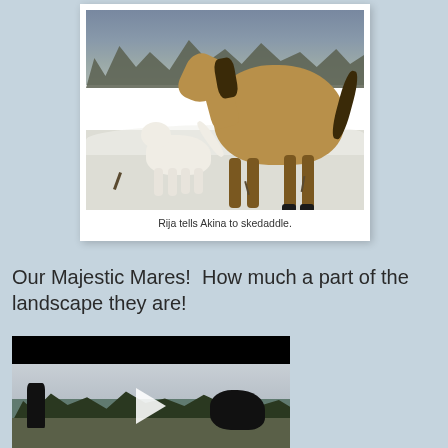[Figure (photo): Polaroid-style photo of a brown horse and a white dog (Akina) in a snowy winter landscape with bare trees in the background]
Rija tells Akina to skedaddle.
Our Majestic Mares!  How much a part of the landscape they are!
[Figure (screenshot): Video thumbnail showing a person on horseback in a winter landscape with trees, with a play button overlay]